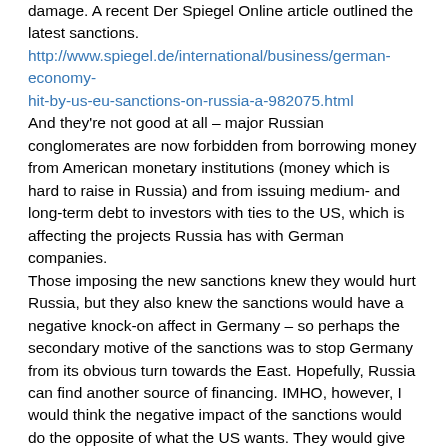damage. A recent Der Spiegel Online article outlined the latest sanctions.
http://www.spiegel.de/international/business/german-economy-hit-by-us-eu-sanctions-on-russia-a-982075.html
And they're not good at all – major Russian conglomerates are now forbidden from borrowing money from American monetary institutions (money which is hard to raise in Russia) and from issuing medium- and long-term debt to investors with ties to the US, which is affecting the projects Russia has with German companies.
Those imposing the new sanctions knew they would hurt Russia, but they also knew the sanctions would have a negative knock-on affect in Germany – so perhaps the secondary motive of the sanctions was to stop Germany from its obvious turn towards the East. Hopefully, Russia can find another source of financing. IMHO, however, I would think the negative impact of the sanctions would do the opposite of what the US wants. They would give Germany the final motivation it needs to throw up its hands in utter frustration, ditch the EU and NATO, and complete its pivot East. Putin did after all say the sanctions would have a boomerang effect.
China, Russia and Germany just want to TRADE. The US just